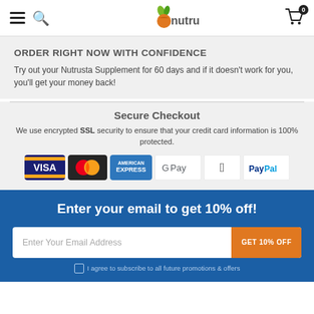Nutrusta navigation header with menu, search, logo, and cart
ORDER RIGHT NOW WITH CONFIDENCE
Try out your Nutrusta Supplement for 60 days and if it doesn't work for you, you'll get your money back!
Secure Checkout
We use encrypted SSL security to ensure that your credit card information is 100% protected.
[Figure (other): Payment method icons: Visa, Mastercard, American Express, Google Pay, Apple Pay, PayPal]
Enter your email to get 10% off!
Enter Your Email Address | GET 10% OFF button